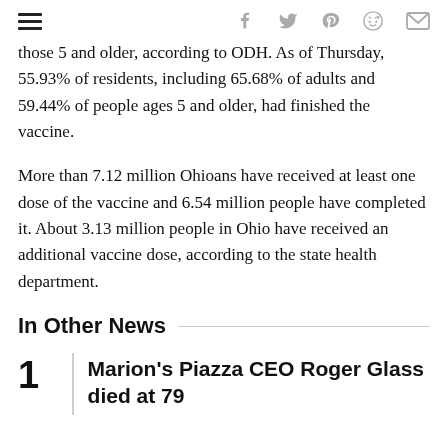☰  f  🐦  p  reddit  ✉
those 5 and older, according to ODH. As of Thursday, 55.93% of residents, including 65.68% of adults and 59.44% of people ages 5 and older, had finished the vaccine.
More than 7.12 million Ohioans have received at least one dose of the vaccine and 6.54 million people have completed it. About 3.13 million people in Ohio have received an additional vaccine dose, according to the state health department.
In Other News
Marion's Piazza CEO Roger Glass died at 79